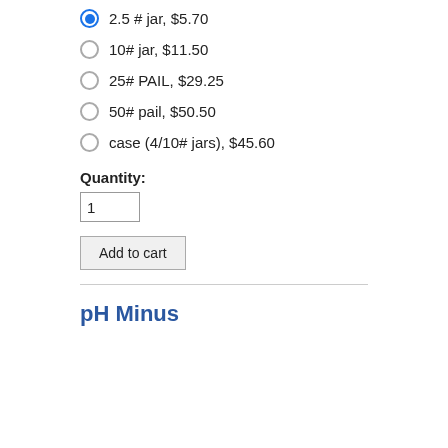2.5 # jar, $5.70
10# jar, $11.50
25# PAIL, $29.25
50# pail, $50.50
case (4/10# jars), $45.60
Quantity:
1
Add to cart
pH Minus